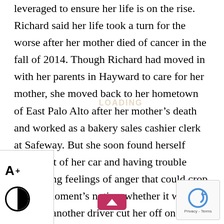leveraged to ensure her life is on the rise. Richard said her life took a turn for the worse after her mother died of cancer in the fall of 2014. Though Richard had moved in with her parents in Hayward to care for her mother, she moved back to her hometown of East Palo Alto after her mother's death and worked as a bakery sales cashier clerk at Safeway. But she soon found herself living out of her car and having trouble controlling feelings of anger that could crop up at a moment's notice, whether it was because another driver cut her off on the road or hearing someone say the word “Mom.” Richard said she took to drinking alcohol almost every day of the week and said she felt like she was going to lose her mind. Even though she had